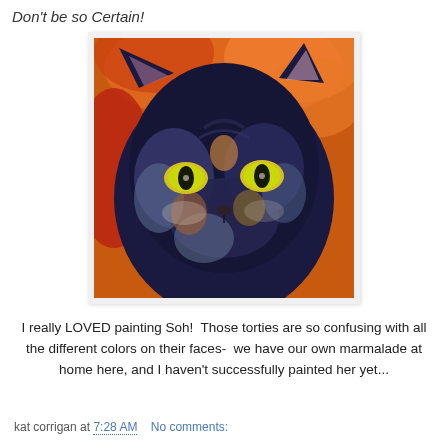Don't be so Certain!
[Figure (illustration): Colorful expressionist painting of a tortoiseshell cat with bright yellow-green eyes against an orange background, dark blue and black fur with multicolored patches]
I really LOVED painting Soh!  Those torties are so confusing with all the different colors on their faces-  we have our own marmalade at home here, and I haven't successfully painted her yet...
kat corrigan at 7:28 AM   No comments: